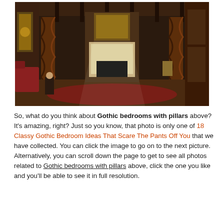[Figure (photo): Interior of a grand Gothic hall with ornate twisted wooden pillars, a large fireplace with stained glass windows, dark wood paneling on walls and ceiling, a figure seated on a chair in the left foreground, a red sofa, decorative rugs, and dim dramatic lighting.]
So, what do you think about Gothic bedrooms with pillars above? It's amazing, right? Just so you know, that photo is only one of 18 Classy Gothic Bedroom Ideas That Scare The Pants Off You that we have collected. You can click the image to go on to the next picture. Alternatively, you can scroll down the page to get to see all photos related to Gothic bedrooms with pillars above, click the one you like and you'll be able to see it in full resolution.